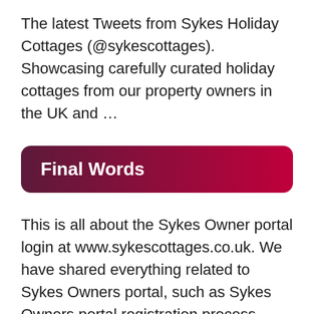The latest Tweets from Sykes Holiday Cottages (@sykescottages). Showcasing carefully curated holiday cottages from our property owners in the UK and …
Final Words
This is all about the Sykes Owner portal login at www.sykescottages.co.uk. We have shared everything related to Sykes Owners portal, such as Sykes Owners portal registration process, Sykes Owners portal